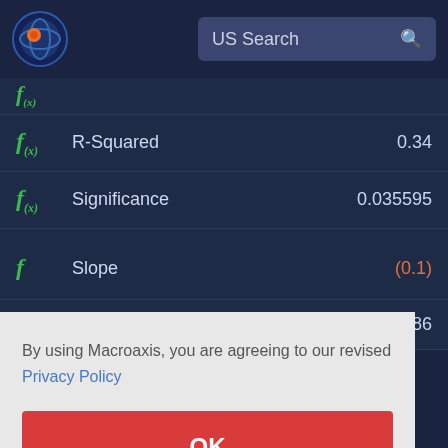[Figure (screenshot): Macroaxis website header with logo and US Search bar]
| Metric | Value |
| --- | --- |
| R-Squared | 0.34 |
| Significance | 0.035595 |
| Slope | (0.1) |
|  | 4.86 |
By using Macroaxis, you are agreeing to our revised Privacy Policy
OK